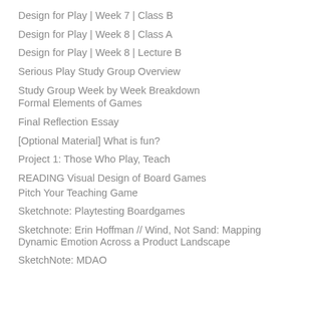Design for Play | Week 7 | Class B
Design for Play | Week 8 | Class A
Design for Play | Week 8 | Lecture B
Serious Play Study Group Overview
Study Group Week by Week Breakdown
Formal Elements of Games
Final Reflection Essay
[Optional Material] What is fun?
Project 1: Those Who Play, Teach
READING Visual Design of Board Games
Pitch Your Teaching Game
Sketchnote: Playtesting Boardgames
Sketchnote: Erin Hoffman // Wind, Not Sand: Mapping Dynamic Emotion Across a Product Landscape
SketchNote: MDAO